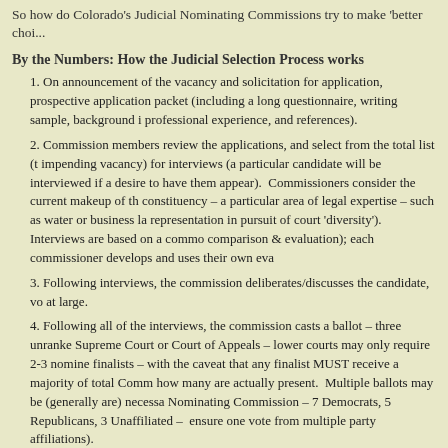So how do Colorado's Judicial Nominating Commissions try to make 'better choi...
By the Numbers: How the Judicial Selection Process works
1. On announcement of the vacancy and solicitation for application, prospective application packet (including a long questionnaire, writing sample, background i... professional experience, and references).
2. Commission members review the applications, and select from the total list (t... impending vacancy) for interviews (a particular candidate will be interviewed if a desire to have them appear). Commissioners consider the current makeup of th constituency – a particular area of legal expertise – such as water or business la... representation in pursuit of court 'diversity'). Interviews are based on a commo... comparison & evaluation); each commissioner develops and uses their own eva...
3. Following interviews, the commission deliberates/discusses the candidate, vo... at large.
4. Following all of the interviews, the commission casts a ballot – three unranke... Supreme Court or Court of Appeals – lower courts may only require 2-3 nomine finalists – with the caveat that any finalist MUST receive a majority of total Comm... how many are actually present. Multiple ballots may be (generally are) necessa... Nominating Commission – 7 Democrats, 5 Republicans, 3 Unaffiliated – ensure... one vote from multiple party affiliations).
5. The names of the three finalists are submitted for consideration by the gover... from the list.
Systemic Flaws and Opportunities for Reform